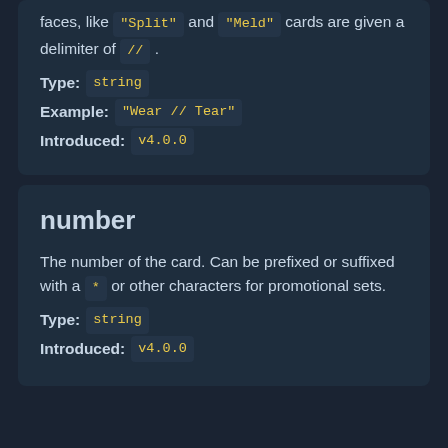faces, like "Split" and "Meld" cards are given a delimiter of // .
Type: string
Example: "Wear // Tear"
Introduced: v4.0.0
number
The number of the card. Can be prefixed or suffixed with a * or other characters for promotional sets.
Type: string
Introduced: v4.0.0